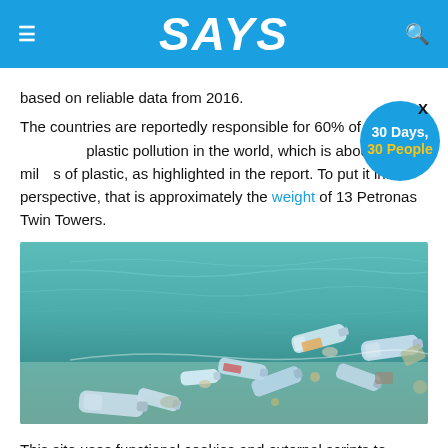SAYS
based on reliable data from 2016.
The countries are reportedly responsible for 60% of plastic pollution in the world, which is about eight million tonnes of plastic, as highlighted in the report. To put it into perspective, that is approximately the weight of 13 Petronas Twin Towers.
[Figure (photo): Photo of plastic bottles and debris floating on teal ocean water]
This site uses functional cookies and external scripts to improve your experience.